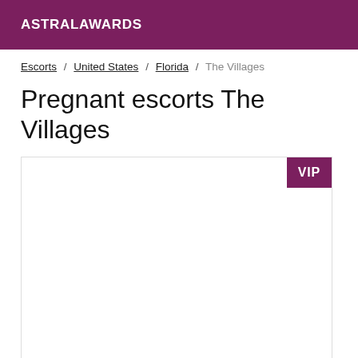ASTRALAWARDS
Escorts / United States / Florida / The Villages
Pregnant escorts The Villages
[Figure (other): A listing card with a VIP badge in the top-right corner. The card area is mostly blank/white with a border.]